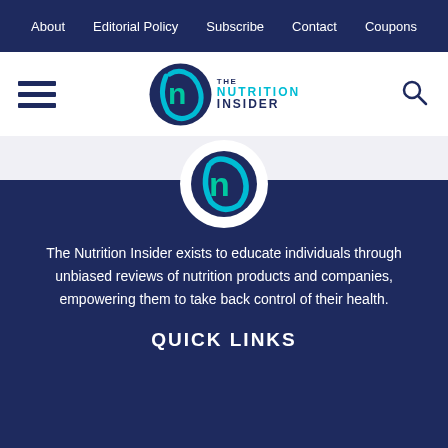About   Editorial Policy   Subscribe   Contact   Coupons
[Figure (logo): The Nutrition Insider logo — circular swoosh with stylized N, with 'THE NUTRITION INSIDER' text beside it]
[Figure (logo): The Nutrition Insider circular logo icon in white circle]
The Nutrition Insider exists to educate individuals through unbiased reviews of nutrition products and companies, empowering them to take back control of their health.
QUICK LINKS